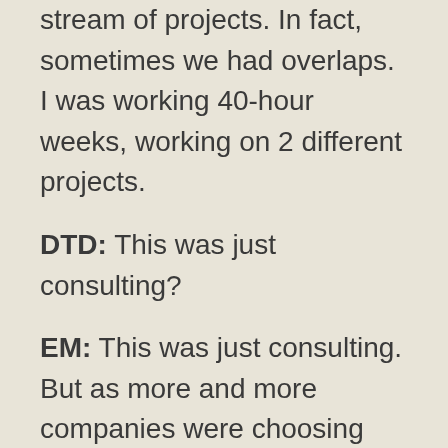stream of projects. In fact, sometimes we had overlaps. I was working 40-hour weeks, working on 2 different projects.
DTD: This was just consulting?
EM: This was just consulting. But as more and more companies were choosing the offshore options, or outsourcing options, we noticed that the number of projects we were getting was steadily starting to decline. And I would have these long gaps between projects now. So sometimes there would be a few weeks, then it started to span into a couple months. And I thought: "Well